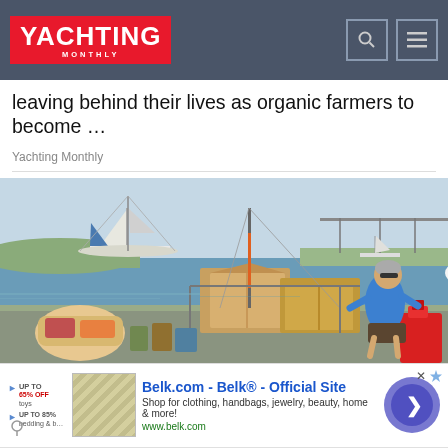YACHTING MONTHLY
leaving behind their lives as organic farmers to become ...
Yachting Monthly
[Figure (photo): A person on a sailing yacht deck surrounded by boxes, grocery bags, and supplies being loaded, with other sailboats and a harbour visible in the background.]
Belk.com - Belk® - Official Site
Shop for clothing, handbags, jewelry, beauty, home & more!
www.belk.com